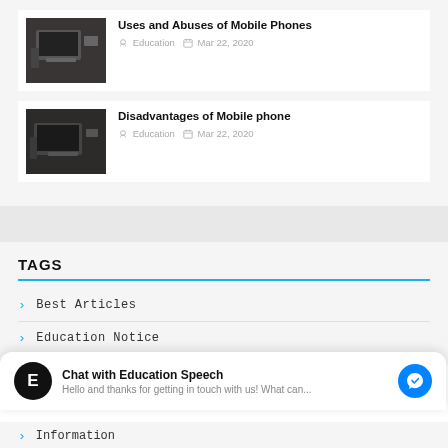[Figure (photo): Person using laptop at desk, thumbnail image for article]
Uses and Abuses of Mobile Phones
Education   Mar 22, 2020
[Figure (photo): Person using laptop at desk, thumbnail image for article]
Disadvantages of Mobile phone
Education   Mar 22, 2020
TAGS
Best Articles
Education Notice
Chat with Education Speech
Hello and thanks for getting in touch with us! What can...
Information